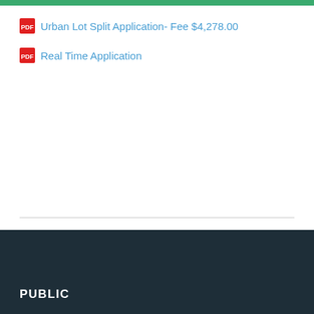Urban Lot Split Application- Fee $4,278.00
Real Time Application
SHARE THIS PAGE
[Figure (other): Social media share icons: Facebook, Twitter, LinkedIn (grey circles)]
PUBLIC